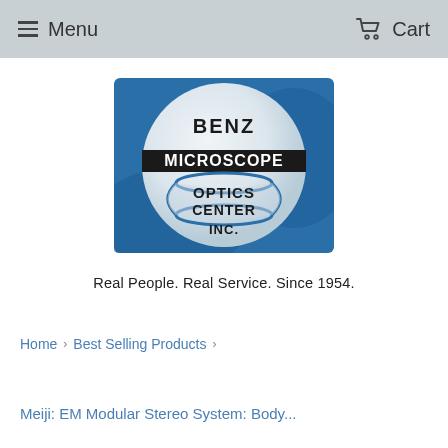Menu   Cart
[Figure (logo): Benz Microscope Optics Center Inc. circular logo with lens graphic on blue background]
Real People. Real Service. Since 1954.
Home › Best Selling Products ›
Meiji: EM Modular Stereo System: Body...